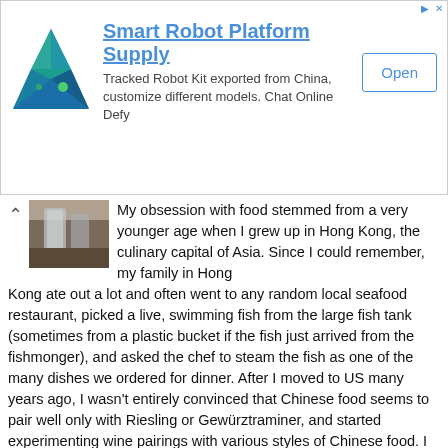[Figure (infographic): Advertisement banner for Smart Robot Platform Supply with a triangular blue/green geometric logo, title 'Smart Robot Platform Supply', description 'Tracked Robot Kit exported from China, customize different models. Chat Online Defy', and an 'Open' button with cyan border.]
My obsession with food stemmed from a very younger age when I grew up in Hong Kong, the culinary capital of Asia. Since I could remember, my family in Hong Kong ate out a lot and often went to any random local seafood restaurant, picked a live, swimming fish from the large fish tank (sometimes from a plastic bucket if the fish just arrived from the fishmonger), and asked the chef to steam the fish as one of the many dishes we ordered for dinner. After I moved to US many years ago, I wasn't entirely convinced that Chinese food seems to pair well only with Riesling or Gewürztraminer, and started experimenting wine pairings with various styles of Chinese food. I am pleasantly surprised that I have been able to do some amazing pairings, impressing myself and my enthusiastic friends. To happily share the results of all these "experiments" and passion about cooking and eating Chinese food, this blog was born. P.S. I passed the WSET (Wine and Spirits Education Trust) intermediate exam in December 2012 and completed the CSWS Intermediate Level Course in 2018.